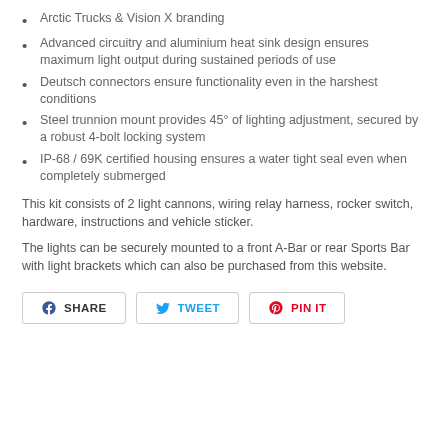Arctic Trucks & Vision X branding
Advanced circuitry and aluminium heat sink design ensures maximum light output during sustained periods of use
Deutsch connectors ensure functionality even in the harshest conditions
Steel trunnion mount provides 45° of lighting adjustment, secured by a robust 4-bolt locking system
IP-68 / 69K certified housing ensures a water tight seal even when completely submerged
This kit consists of 2 light cannons, wiring relay harness, rocker switch, hardware, instructions and vehicle sticker.
The lights can be securely mounted to a front A-Bar or rear Sports Bar with light brackets which can also be purchased from this website.
[Figure (infographic): Social sharing buttons: SHARE (Facebook), TWEET (Twitter), PIN IT (Pinterest)]